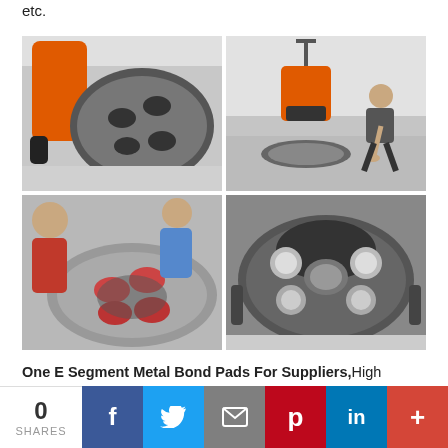etc.
[Figure (photo): Four photos showing floor grinding machine: top-left shows machine disc from below, top-right shows a person using the machine on a floor, bottom-left shows two people inspecting the machine disc, bottom-right shows close-up of machine disc from below with diamond pads visible.]
One E Segment Metal Bond Pads For Suppliers, High quality diamond combain with excellent bond,which
0 SHARES | f | tw | mail | p | in | +